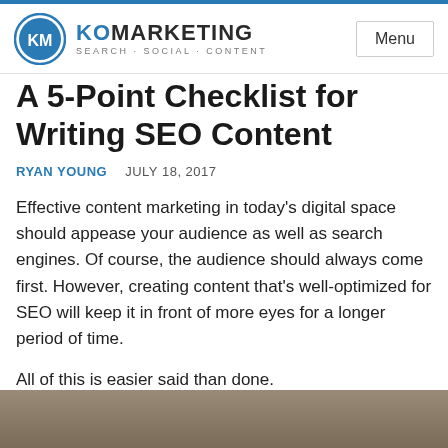KO MARKETING SEARCH·SOCIAL·CONTENT Menu
A 5-Point Checklist for Writing SEO Content
RYAN YOUNG    JULY 18, 2017
Effective content marketing in today's digital space should appease your audience as well as search engines. Of course, the audience should always come first. However, creating content that's well-optimized for SEO will keep it in front of more eyes for a longer period of time.
All of this is easier said than done.
So, where do you begin?
[Figure (photo): Bottom strip showing a partial photograph, appears to be an outdoor or nature scene]